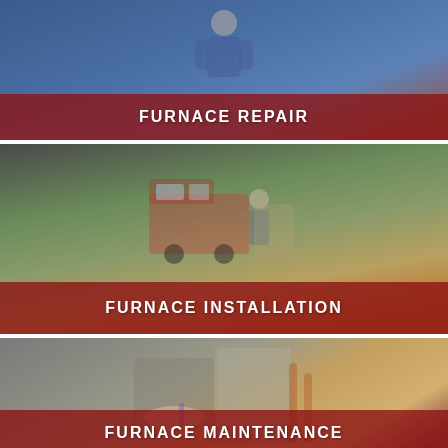[Figure (photo): HVAC technician in blue uniform, furnace repair service image with red overlay banner at bottom]
FURNACE REPAIR
[Figure (photo): Technician working near a service van with tools and equipment, furnace installation service image with red overlay banner at bottom]
FURNACE INSTALLATION
[Figure (photo): Close-up of hands using screwdriver on HVAC/furnace unit with copper pipes visible, partial red overlay banner at bottom]
FURNACE MAINTENANCE